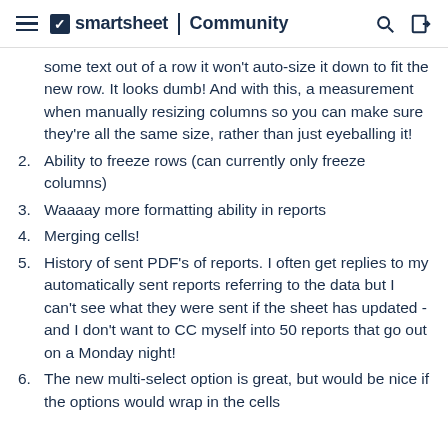smartsheet | Community
some text out of a row it won't auto-size it down to fit the new row. It looks dumb! And with this, a measurement when manually resizing columns so you can make sure they're all the same size, rather than just eyeballing it!
2. Ability to freeze rows (can currently only freeze columns)
3. Waaaay more formatting ability in reports
4. Merging cells!
5. History of sent PDF's of reports. I often get replies to my automatically sent reports referring to the data but I can't see what they were sent if the sheet has updated - and I don't want to CC myself into 50 reports that go out on a Monday night!
6. The new multi-select option is great, but would be nice if the options would wrap in the cells